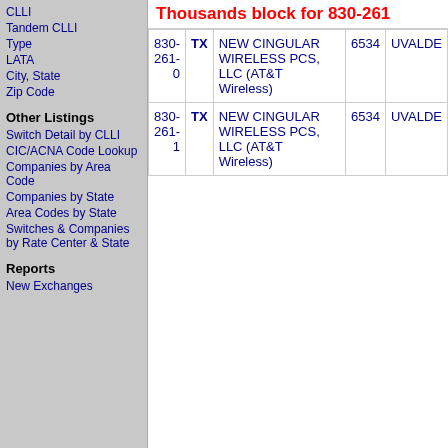CLLI
Tandem CLLI
Type
LATA
City, State
Zip Code
Other Listings
Switch Detail by CLLI
CIC/ACNA Code Lookup
Companies by Area Code
Companies by State
Area Codes by State
Switches & Companies by Rate Center & State
Reports
New Exchanges
Thousands block for 830-261
| Number | State | Company | LATA | City |
| --- | --- | --- | --- | --- |
| 830-261-0 | TX | NEW CINGULAR WIRELESS PCS, LLC (AT&T Wireless) | 6534 | UVALDE |
| 830-261-1 | TX | NEW CINGULAR WIRELESS PCS, LLC (AT&T Wireless) | 6534 | UVALDE |